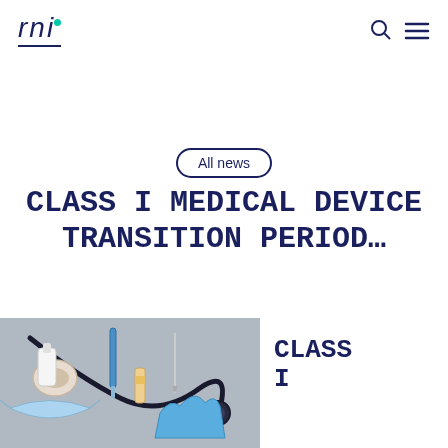[Figure (logo): RNI logo with teal dot accent and double underline]
All news
CLASS I MEDICAL DEVICE TRANSITION PERIOD…
[Figure (photo): Medical devices and equipment laid on a grey surface including stethoscope, gloves, bandages, syringes, and face mask]
CLASS I